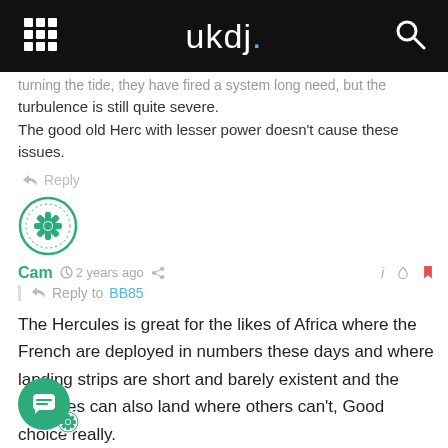ukdj.
turbulence is still quite severe.
The good old Herc with lesser power doesn't cause these issues.
Reply
[Figure (illustration): Round avatar with green border showing a green snowflake/star logo]
Cam  2 years ago  Reply to BB85
The Hercules is great for the likes of Africa where the French are deployed in numbers these days and where landing strips are short and barely existent and the Hercules can also land where others can't, Good choice really.
28  Reply